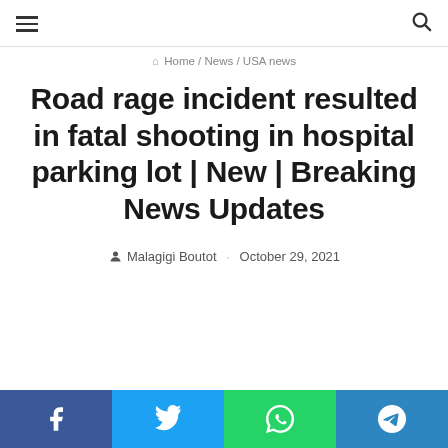≡  🔍
🏠 Home / News / USA news
Road rage incident resulted in fatal shooting in hospital parking lot | New | Breaking News Updates
Malagigi Boutot  ·  October 29, 2021